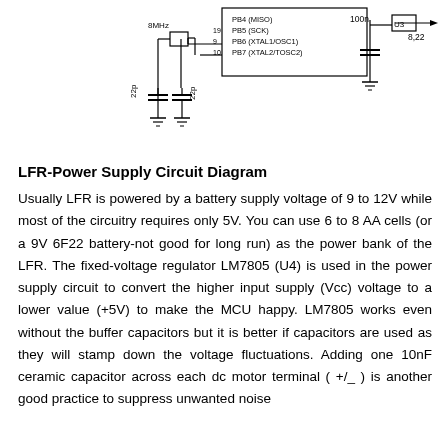[Figure (circuit-diagram): Partial circuit diagram showing an 8MHz crystal oscillator connected to a microcontroller (ATmega or similar) with pins PB5 (SCK), PB6 (XTAL1/OSC1), PB7 (XTAL2/TOSC2). Two 22p capacitors are shown at the crystal. A 100n capacitor connects to U3 with label 8,22.]
LFR-Power Supply Circuit Diagram
Usually LFR is powered by a battery supply voltage of 9 to 12V while most of the circuitry requires only 5V. You can use 6 to 8 AA cells (or a 9V 6F22 battery-not good for long run) as the power bank of the LFR. The fixed-voltage regulator LM7805 (U4) is used in the power supply circuit to convert the higher input supply (Vcc) voltage to a lower value (+5V) to make the MCU happy. LM7805 works even without the buffer capacitors but it is better if capacitors are used as they will stamp down the voltage fluctuations. Adding one 10nF ceramic capacitor across each dc motor terminal ( +/_ ) is another good practice to suppress unwanted noise